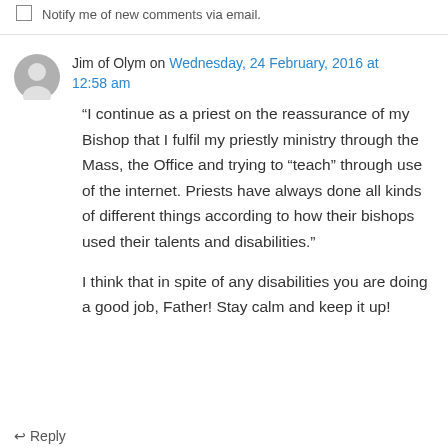Notify me of new comments via email.
Jim of Olym on Wednesday, 24 February, 2016 at 12:58 am
“I continue as a priest on the reassurance of my Bishop that I fulfil my priestly ministry through the Mass, the Office and trying to “teach” through use of the internet. Priests have always done all kinds of different things according to how their bishops used their talents and disabilities.”

I think that in spite of any disabilities you are doing a good job, Father! Stay calm and keep it up!
Reply